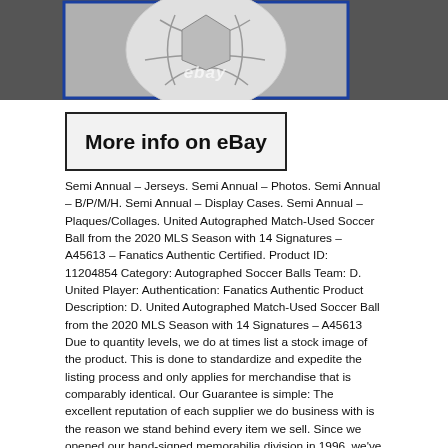[Figure (photo): Partial view of a soccer ball with eBay watermark, shown inside a blue-bordered frame against a dark background.]
[Figure (screenshot): More info on eBay button/banner with bold text inside a rectangular border.]
Semi Annual – Jerseys. Semi Annual – Photos. Semi Annual – B/P/M/H. Semi Annual – Display Cases. Semi Annual – Plaques/Collages. United Autographed Match-Used Soccer Ball from the 2020 MLS Season with 14 Signatures – A45613 – Fanatics Authentic Certified. Product ID: 11204854 Category: Autographed Soccer Balls Team: D. United Player: Authentication: Fanatics Authentic Product Description: D. United Autographed Match-Used Soccer Ball from the 2020 MLS Season with 14 Signatures – A45613 Due to quantity levels, we do at times list a stock image of the product. This is done to standardize and expedite the listing process and only applies for merchandise that is comparably identical. Our Guarantee is simple: The excellent reputation of each supplier we do business with is the reason we stand behind every item we sell. Since we opened our hand-signed memorabilia division in 1996, we've built relationships with the most reputable memorabilia companies in the business. We will